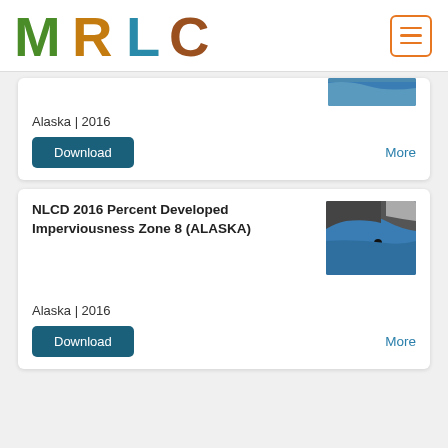[Figure (logo): MRLC logo with nature-themed letter fills and hamburger menu button]
Alaska | 2016
Download
More
NLCD 2016 Percent Developed Imperviousness Zone 8 (ALASKA)
[Figure (map): Map thumbnail showing Alaska region with dark landmass and blue water, small black dots near coast]
Alaska | 2016
Download
More